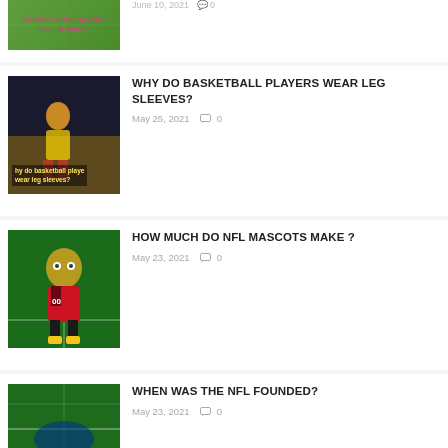[Figure (photo): Partial thumbnail of 'Forefoot Running Better than Heel Striking?' article with green background and pink text]
[Figure (photo): Basketball player thumbnail with text 'Why do basketball players wear leg sleeves?']
WHY DO BASKETBALL PLAYERS WEAR LEG SLEEVES?
May 25, 2021  0
[Figure (photo): NFL mascot (bird/falcon costume) on football field]
HOW MUCH DO NFL MASCOTS MAKE ?
May 23, 2021  0
[Figure (photo): NFL football field thumbnail with text 'When Was The NFL Fou...']
WHEN WAS THE NFL FOUNDED?
May 23, 2021  0